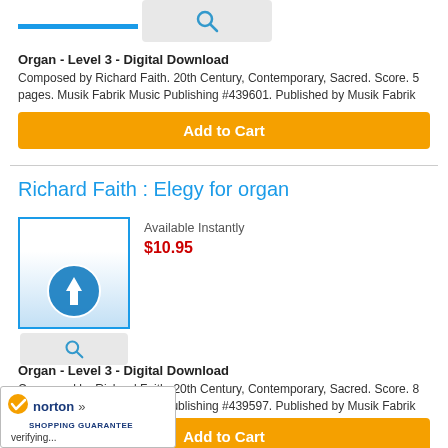[Figure (screenshot): Blue horizontal bar at top of product listing]
[Figure (screenshot): Magnifier/search button in light gray]
Organ - Level 3 - Digital Download
Composed by Richard Faith. 20th Century, Contemporary, Sacred. Score. 5 pages. Musik Fabrik Music Publishing #439601. Published by Musik Fabrik
Add to Cart
Richard Faith : Elegy for organ
Available Instantly
$10.95
[Figure (illustration): Digital download product image with blue download arrow icon on gradient background, framed with blue border]
[Figure (screenshot): Magnifier/search button in light gray]
Organ - Level 3 - Digital Download
Composed by Richard Faith. 20th Century, Contemporary, Sacred. Score. 8 pages. Musik Fabrik Music Publishing #439597. Published by Musik Fabrik
Add to Cart
[Figure (logo): Norton Shopping Guarantee badge with checkmark]